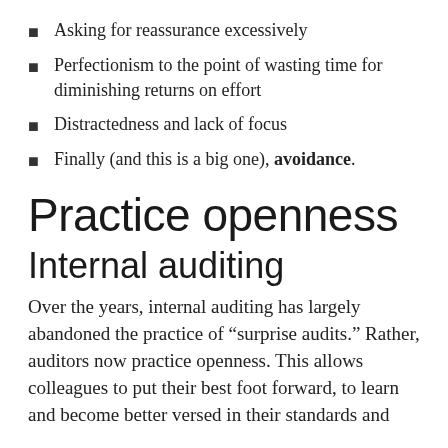Asking for reassurance excessively
Perfectionism to the point of wasting time for diminishing returns on effort
Distractedness and lack of focus
Finally (and this is a big one), avoidance.
Practice openness
Internal auditing
Over the years, internal auditing has largely abandoned the practice of “surprise audits.” Rather, auditors now practice openness. This allows colleagues to put their best foot forward, to learn and become better versed in their standards and